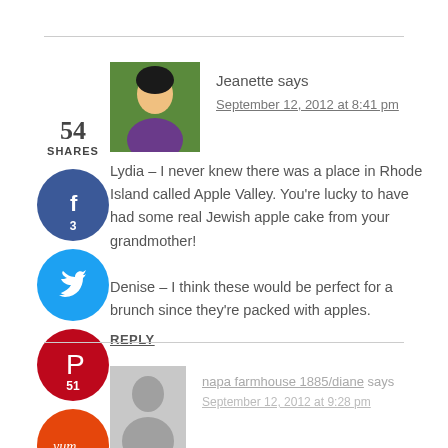[Figure (other): Share sidebar with social buttons: Facebook (3 shares), Twitter, Pinterest (51 shares), Yummly. Total: 54 SHARES.]
Jeanette says
September 12, 2012 at 8:41 pm
Lydia – I never knew there was a place in Rhode Island called Apple Valley. You're lucky to have had some real Jewish apple cake from your grandmother!

Denise – I think these would be perfect for a brunch since they're packed with apples.
REPLY
napa farmhouse 1885/diane says
September 12, 2012 at 9:28 pm